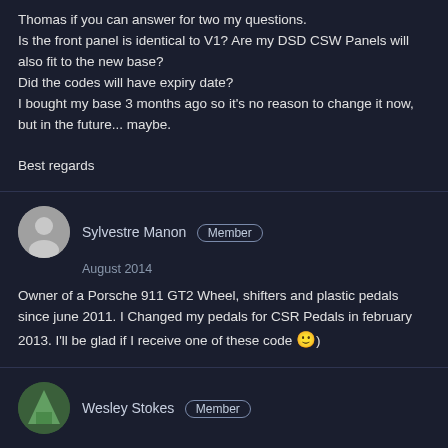Thomas if you can answer for two my questions.
Is the front panel is identical to V1? Are my DSD CSW Panels will also fit to the new base?
Did the codes will have expiry date?
I bought my base 3 months ago so it's no reason to change it now, but in the future... maybe.

Best regards
Sylvestre Manon  Member
August 2014
Owner of a Porsche 911 GT2 Wheel, shifters and plastic pedals since june 2011. I Changed my pedals for CSR Pedals in february 2013. I'll be glad if I receive one of these code 🙂)
Wesley Stokes  Member